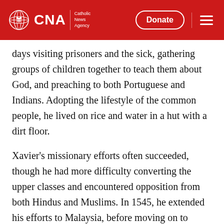CNA | Catholic News Agency — Donate
days visiting prisoners and the sick, gathering groups of children together to teach them about God, and preaching to both Portuguese and Indians. Adopting the lifestyle of the common people, he lived on rice and water in a hut with a dirt floor.
Xavier's missionary efforts often succeeded, though he had more difficulty converting the upper classes and encountered opposition from both Hindus and Muslims. In 1545, he extended his efforts to Malaysia, before moving on to Japan in 1549.
Becoming fluent in Japanese, Francis instructed